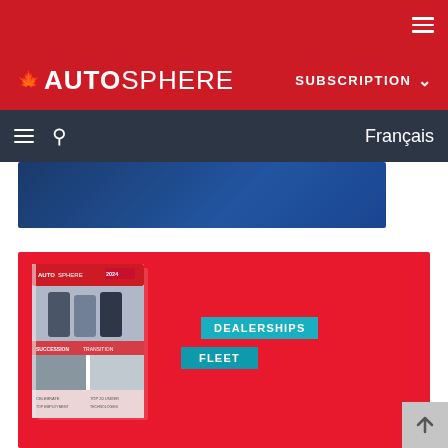AUTOSPHERE — SUBSCRIPTION | Français
[Figure (screenshot): Autosphere website navigation screenshot showing red top bar with hamburger menu, Autosphere logo, Subscription dropdown, dark nav bar with hamburger, search icon, Français link, blue banner image, and red promotional area with magazine cover and DEALERSHIPS and FLEET labels. Back-to-top arrow button in bottom right.]